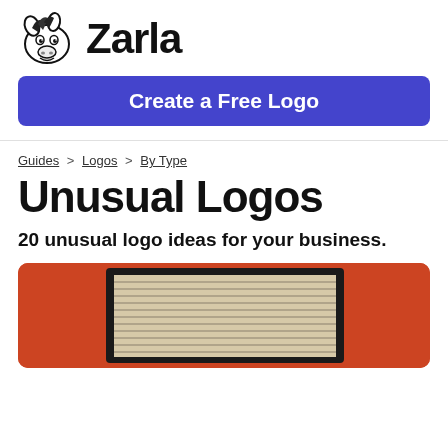Zarla
Create a Free Logo
Guides > Logos > By Type
Unusual Logos
20 unusual logo ideas for your business.
[Figure (photo): Photo of a red/orange wall with a window featuring horizontal blinds/shutters, partially cropped at the bottom of the page.]